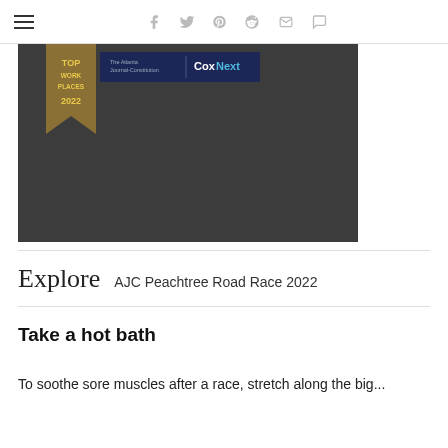≡  f  𝕏  ℗  🅁  ✉  💬
[Figure (photo): Dark background image with a Top Workplaces 2022 gold ribbon badge on the left and a CoxNext/Atlanta Journal-Constitution banner on the upper right]
Explore  AJC Peachtree Road Race 2022
Take a hot bath
To soothe sore muscles after a race, stretch along the big...